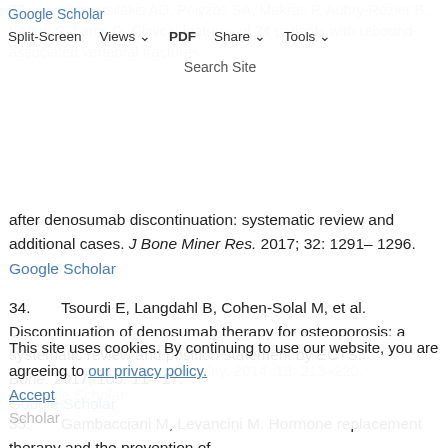Google Scholar | Split-Screen | Views | PDF | Share | Tools | Search Site
33. Anastasilakis AD, Polyzos SA, Makras P, Aubry-Rozier B, Kaouri S, Lamy O. Clinical features of 24 patients with rebound-associated vertebral fractures after denosumab discontinuation: systematic review and additional cases. J Bone Miner Res. 2017; 32: 1291–1296. Google Scholar
34. Tsourdi E, Langdahl B, Cohen-Solal M, et al. Discontinuation of denosumab therapy for osteoporosis: a systematic review and position statement by ECTS. Bone. 2017; 105: 11–17. Google Scholar
35. Gambacciani M, Levancini M. Hormone replacement therapy and the prevention of postmenopausal osteoporosis. Prz Menopauzalny. 2014; 13: 213–220. Google Scholar
This site uses cookies. By continuing to use our website, you are agreeing to our privacy policy.
Accept